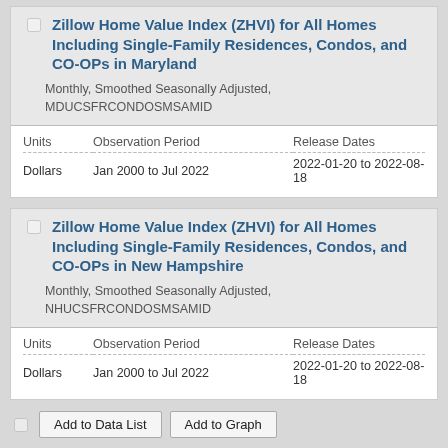Zillow Home Value Index (ZHVI) for All Homes Including Single-Family Residences, Condos, and CO-OPs in Maryland
Monthly, Smoothed Seasonally Adjusted, MDUCSFRCONDOSMSAMID
| Units | Observation Period | Release Dates |
| --- | --- | --- |
| Dollars | Jan 2000 to Jul 2022 | 2022-01-20 to 2022-08-18 |
Zillow Home Value Index (ZHVI) for All Homes Including Single-Family Residences, Condos, and CO-OPs in New Hampshire
Monthly, Smoothed Seasonally Adjusted, NHUCSFRCONDOSMSAMID
| Units | Observation Period | Release Dates |
| --- | --- | --- |
| Dollars | Jan 2000 to Jul 2022 | 2022-01-20 to 2022-08-18 |